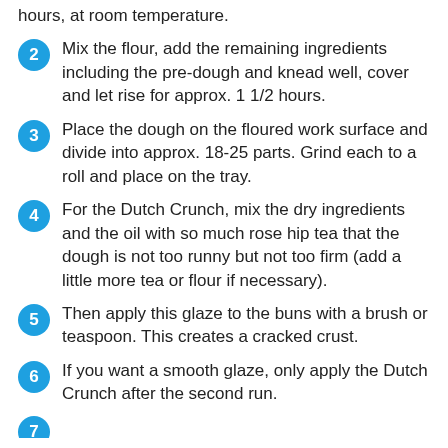hours, at room temperature.
2  Mix the flour, add the remaining ingredients including the pre-dough and knead well, cover and let rise for approx. 1 1/2 hours.
3  Place the dough on the floured work surface and divide into approx. 18-25 parts. Grind each to a roll and place on the tray.
4  For the Dutch Crunch, mix the dry ingredients and the oil with so much rose hip tea that the dough is not too runny but not too firm (add a little more tea or flour if necessary).
5  Then apply this glaze to the buns with a brush or teaspoon. This creates a cracked crust.
6  If you want a smooth glaze, only apply the Dutch Crunch after the second run.
7  ...